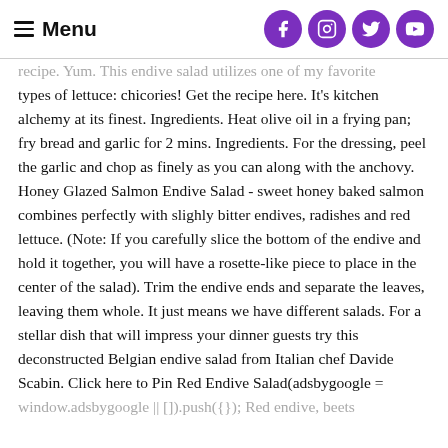Menu
recipe. Yum. This endive salad utilizes one of my favorite types of lettuce: chicories! Get the recipe here. It's kitchen alchemy at its finest. Ingredients. Heat olive oil in a frying pan; fry bread and garlic for 2 mins. Ingredients. For the dressing, peel the garlic and chop as finely as you can along with the anchovy. Honey Glazed Salmon Endive Salad - sweet honey baked salmon combines perfectly with slighly bitter endives, radishes and red lettuce. (Note: If you carefully slice the bottom of the endive and hold it together, you will have a rosette-like piece to place in the center of the salad). Trim the endive ends and separate the leaves, leaving them whole. It just means we have different salads. For a stellar dish that will impress your dinner guests try this deconstructed Belgian endive salad from Italian chef Davide Scabin. Click here to Pin Red Endive Salad(adsbygoogle = window.adsbygoogle || []).push({}); Red endive, beets